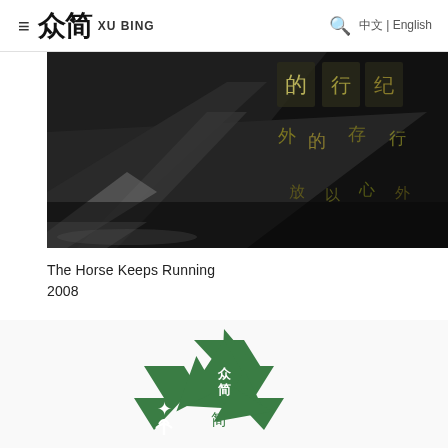≡ 众简 XU BING  🔍 中文 | English
[Figure (photo): Dark photograph showing illuminated Chinese characters/text on a display board, with light reflecting off surfaces, dark moody tones]
The Horse Keeps Running
2008
[Figure (logo): Green recycling-style triangular logo with Chinese characters 众简 (Xu Bing) and pictograms including a human figure silhouette, a plant/leaf symbol, and Chinese characters in the center, arranged in a triangular recycling symbol pattern]